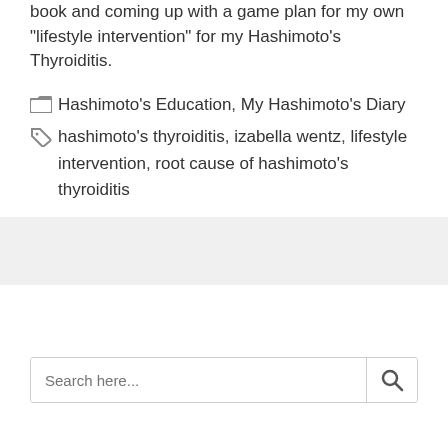I am going to spend the day reading this book and coming up with a game plan for my own “lifestyle intervention” for my Hashimoto’s Thyroiditis.
Categories: Hashimoto's Education, My Hashimoto's Diary
Tags: hashimoto's thyroiditis, izabella wentz, lifestyle intervention, root cause of hashimoto's thyroiditis